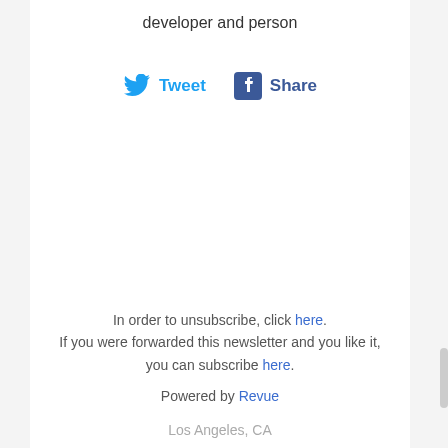developer and person
[Figure (other): Tweet and Share buttons with Twitter bird icon and Facebook logo icon]
In order to unsubscribe, click here. If you were forwarded this newsletter and you like it, you can subscribe here.
Powered by Revue
Los Angeles, CA